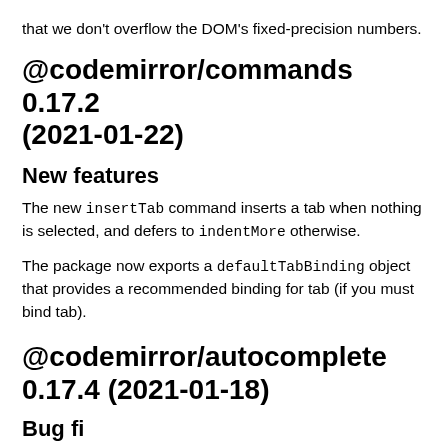that we don't overflow the DOM's fixed-precision numbers.
@codemirror/commands 0.17.2 (2021-01-22)
New features
The new insertTab command inserts a tab when nothing is selected, and defers to indentMore otherwise.
The package now exports a defaultTabBinding object that provides a recommended binding for tab (if you must bind tab).
@codemirror/autocomplete 0.17.4 (2021-01-18)
Bug fi...